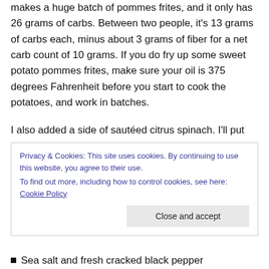makes a huge batch of pommes frites, and it only has 26 grams of carbs. Between two people, it's 13 grams of carbs each, minus about 3 grams of fiber for a net carb count of 10 grams. If you do fry up some sweet potato pommes frites, make sure your oil is 375 degrees Fahrenheit before you start to cook the potatoes, and work in batches.
I also added a side of sautéed citrus spinach. I'll put the recipe below. I can't actually eat a whole ribeye, or even half one, but it gives me a few meals. As for the leftover bacon jam, roll it in your omelet tomorrow morning or
Privacy & Cookies: This site uses cookies. By continuing to use this website, you agree to their use.
To find out more, including how to control cookies, see here: Cookie Policy
Sea salt and fresh cracked black pepper